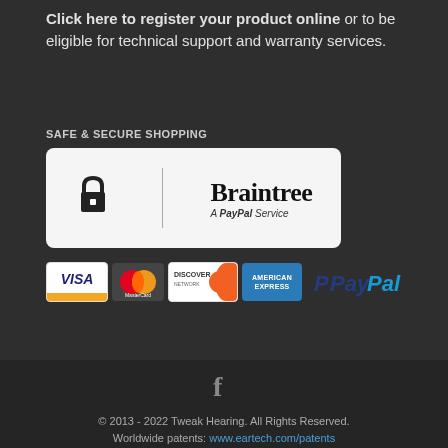Click here to register your product online or to be eligible for technical support and warranty services.
SAFE & SECURE SHOPPING
[Figure (logo): Braintree - A PayPal Service logo in a white rounded rectangle with lock icon and vertical divider]
[Figure (logo): Payment method icons: VISA, MasterCard, Discover, American Express, PayPal]
[Figure (logo): Facebook icon (f)]
© 2013 - 2022 Tweak Hearing. All Rights Reserved. Worldwide patents: www.eartech.com/patents